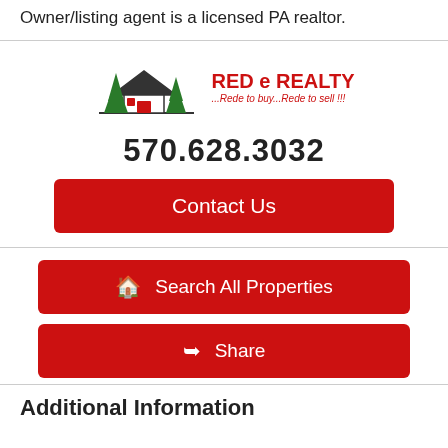Owner/listing agent is a licensed PA realtor.
[Figure (logo): Red e Realty logo with house and trees icon, text 'RED e REALTY ...Red e to buy...Red e to sell!!!']
570.628.3032
Contact Us
Search All Properties
Share
Additional Information